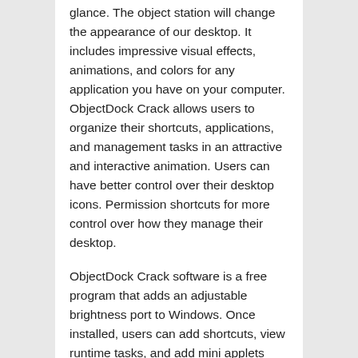glance. The object station will change the appearance of our desktop. It includes impressive visual effects, animations, and colors for any application you have on your computer. ObjectDock Crack allows users to organize their shortcuts, applications, and management tasks in an attractive and interactive animation. Users can have better control over their desktop icons. Permission shortcuts for more control over how they manage their desktop.
ObjectDock Crack software is a free program that adds an adjustable brightness port to Windows. Once installed, users can add shortcuts, view runtime tasks, and add mini applets called docks to their docks. It can display weather information, time, system information, and much more. Stardock also has ObjectDock Plus, which supports multiple docks, tabs, system drawer